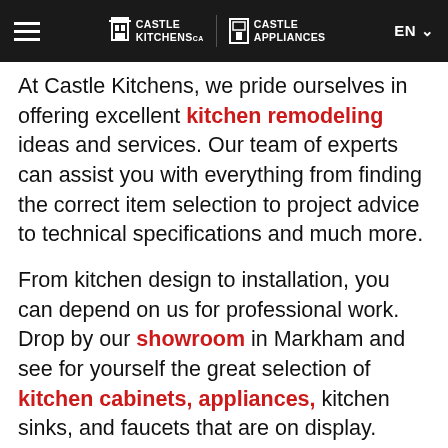Castle Kitchens | Castle Appliances | EN
At Castle Kitchens, we pride ourselves in offering excellent kitchen remodeling ideas and services. Our team of experts can assist you with everything from finding the correct item selection to project advice to technical specifications and much more.
From kitchen design to installation, you can depend on us for professional work. Drop by our showroom in Markham and see for yourself the great selection of kitchen cabinets, appliances, kitchen sinks, and faucets that are on display.
If you are renovating, redesigning your kitchen or simply needing a new Gas Cooktop let Thermador SGSX365TS 5 Star Burner Gas Cooktop add class and style to your Kitchen. Get in touch with us to feel the difference we have to offer and we look